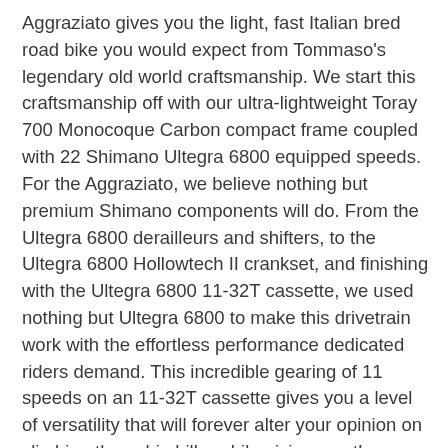Aggraziato gives you the light, fast Italian bred road bike you would expect from Tommaso's legendary old world craftsmanship. We start this craftsmanship off with our ultra-lightweight Toray 700 Monocoque Carbon compact frame coupled with 22 Shimano Ultegra 6800 equipped speeds. For the Aggraziato, we believe nothing but premium Shimano components will do. From the Ultegra 6800 derailleurs and shifters, to the Ultegra 6800 Hollowtech II crankset, and finishing with the Ultegra 6800 11-32T cassette, we used nothing but Ultegra 6800 to make this drivetrain work with the effortless performance dedicated riders demand. This incredible gearing of 11 speeds on an 11-32T cassette gives you a level of versatility that will forever alter your opinion on climbing those big hills, while giving you the speed to win races on the flats. The upgraded Shimano 105 5800 brakes have the stopping power to allow you to let it fly on the descents with the knowledge that you can stop on a dime. If you are looking for a bike that leaves the competition in the dust, look no more. It can offer this kind of